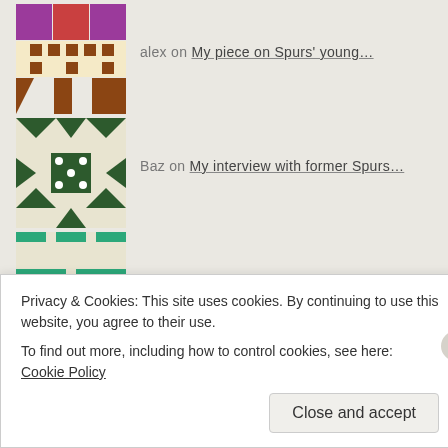alex on My piece on Spurs' young…
Baz on My interview with former Spurs…
Michael West on My interview with former Spurs…
Gordon Atkinson on My interview with former Spurs…
Archives
August 2022
Privacy & Cookies: This site uses cookies. By continuing to use this website, you agree to their use. To find out more, including how to control cookies, see here: Cookie Policy
Close and accept